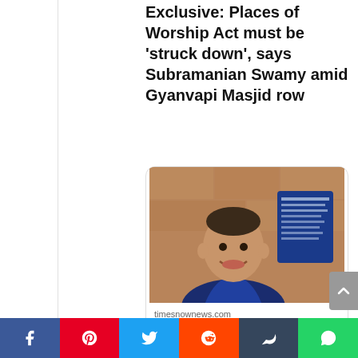Exclusive: Places of Worship Act must be 'struck down', says Subramanian Swamy amid Gyanvapi Masjid row
[Figure (photo): Photo of Subramanian Swamy smiling, wearing a blue vest over white shirt, with a blue signboard in the background]
timesnownews.com
Exclusive: Places of Worship Act must be 'struck down', says Subramanian Swamy am...
2:19 AM · May 17, 2022
Read the full conversation on Twitter
[Figure (other): Social media share bar with Facebook, Pinterest, Twitter, Reddit, Tumblr, and WhatsApp buttons]